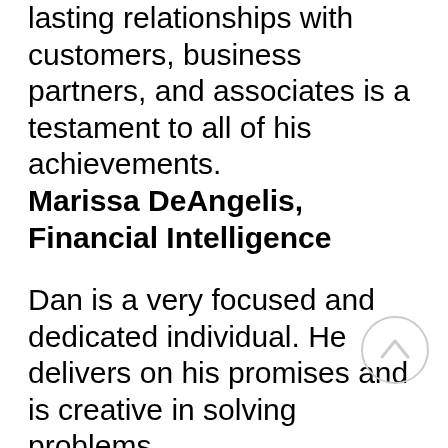lasting relationships with customers, business partners, and associates is a testament to all of his achievements. Marissa DeAngelis, Financial Intelligence
Dan is a very focused and dedicated individual. He delivers on his promises and is creative in solving problems. Roger Manka, Telecommunication/Enterprise Professional